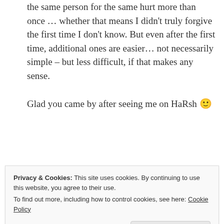the same person for the same hurt more than once … whether that means I didn't truly forgive the first time I don't know. But even after the first time, additional ones are easier… not necessarily simple – but less difficult, if that makes any sense.
Glad you came by after seeing me on HaRsh 🙂
⭐ Liked by 2 people
Reply
Privacy & Cookies: This site uses cookies. By continuing to use this website, you agree to their use.
To find out more, including how to control cookies, see here: Cookie Policy
Close and accept
Completely true; you're so